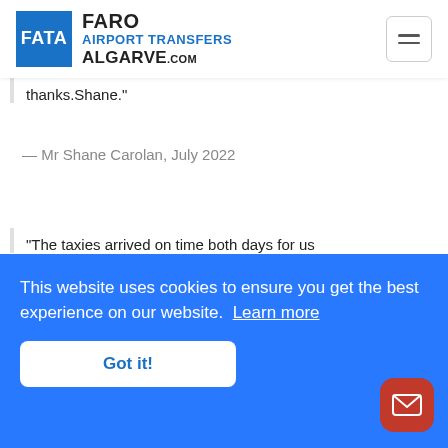[Figure (logo): Faro Airport Transfers Algarve.com logo with blue FATA box and hamburger menu icon]
thanks.Shane."
— Mr Shane Carolan, July 2022
"The taxies arrived on time both days for us
This website uses cookies to ensure you get the best experience on our website. Learn more
Got it!